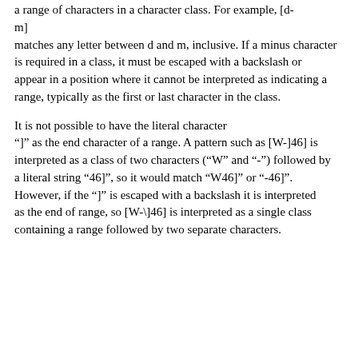a range of characters in a character class. For example, [d-m] matches any letter between d and m, inclusive. If a minus character is required in a class, it must be escaped with a backslash or appear in a position where it cannot be interpreted as indicating a range, typically as the first or last character in the class.
It is not possible to have the literal character "]" as the end character of a range. A pattern such as [W-]46] is interpreted as a class of two characters (“W” and “-”) followed by a literal string “46]”, so it would match “W46]” or “-46]”. However, if the “]” is escaped with a backslash it is interpreted as the end of range, so [W-\]46] is interpreted as a single class containing a range followed by two separate characters.